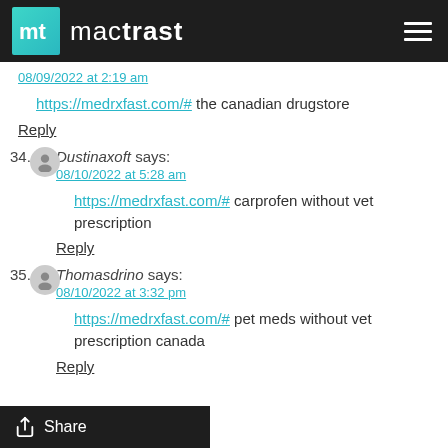mactrast
08/09/2022 at 2:19 am
https://medrxfast.com/# the canadian drugstore
Reply
34. Dustinaxoft says: 08/10/2022 at 5:28 am — https://medrxfast.com/# carprofen without vet prescription — Reply
35. Thomasdrino says: 08/10/2022 at 3:32 pm — https://medrxfast.com/# pet meds without vet prescription canada — Reply